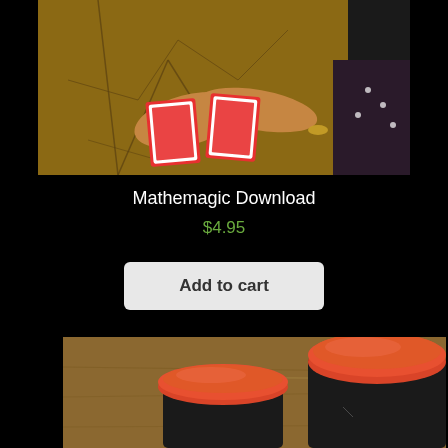[Figure (photo): Hands holding playing cards on a wooden table with cracked paint texture]
Mathemagic Download
$4.95
Add to cart
[Figure (photo): Two cylindrical containers with red lids on a wooden surface]